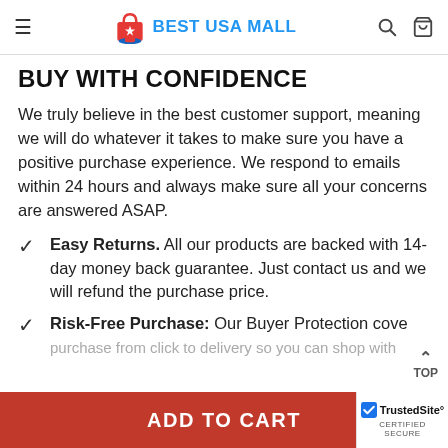BEST USA MALL
BUY WITH CONFIDENCE
We truly believe in the best customer support, meaning we will do whatever it takes to make sure you have a positive purchase experience. We respond to emails within 24 hours and always make sure all your concerns are answered ASAP.
Easy Returns. All our products are backed with 14-day money back guarantee. Just contact us and we will refund the purchase price.
Risk-Free Purchase: Our Buyer Protection covers your purchase from click to delivery so you can shop with...